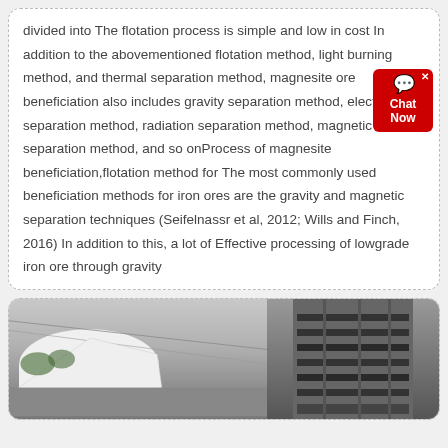divided into The flotation process is simple and low in cost In addition to the abovementioned flotation method, light burning method, and thermal separation method, magnesite ore beneficiation also includes gravity separation method, electric separation method, radiation separation method, magnetic separation method, and so onProcess of magnesite beneficiation,flotation method for The most commonly used beneficiation methods for iron ores are the gravity and magnetic separation techniques (Seifelnassr et al, 2012; Wills and Finch, 2016) In addition to this, a lot of Effective processing of lowgrade iron ore through gravity
[Figure (photo): Photograph of an industrial or facility building, partially covered with white tarpaulin, with a dark modern building visible in the background.]